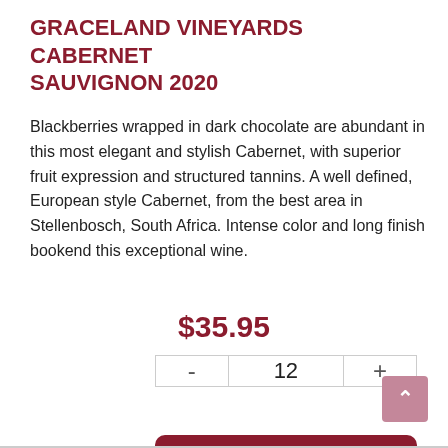GRACELAND VINEYARDS CABERNET SAUVIGNON 2020
Blackberries wrapped in dark chocolate are abundant in this most elegant and stylish Cabernet, with superior fruit expression and structured tannins. A well defined, European style Cabernet, from the best area in Stellenbosch, South Africa. Intense color and long finish bookend this exceptional wine.
$35.95
| - | 12 | + |
| --- | --- | --- |
ADD TO CART